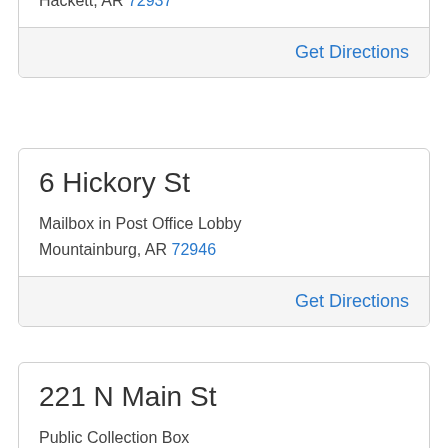Mailbox in Post Office Lobby
Hackett, AR 72937
Get Directions
6 Hickory St
Mailbox in Post Office Lobby
Mountainburg, AR 72946
Get Directions
221 N Main St
Public Collection Box